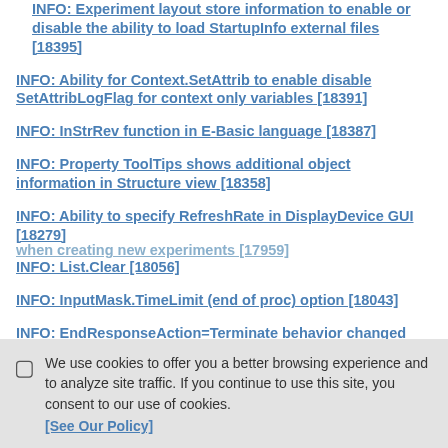INFO: Experiment layout store information to enable or disable the ability to load StartupInfo external files [18395]
INFO: Ability for Context.SetAttrib to enable disable SetAttribLogFlag for context only variables [18391]
INFO: InStrRev function in E-Basic language [18387]
INFO: Property ToolTips shows additional object information in Structure view [18358]
INFO: Ability to specify RefreshRate in DisplayDevice GUI [18279]
INFO: List.Clear [18056]
INFO: InputMask.TimeLimit (end of proc) option [18043]
INFO: EndResponseAction=Terminate behavior changed [18036]
[Figure (other): Cookie consent banner with text: We use cookies to offer you a better browsing experience and to analyze site traffic. If you continue to use this site, you consent to our use of cookies. [See Our Policy]]
when creating new experiments [17959]